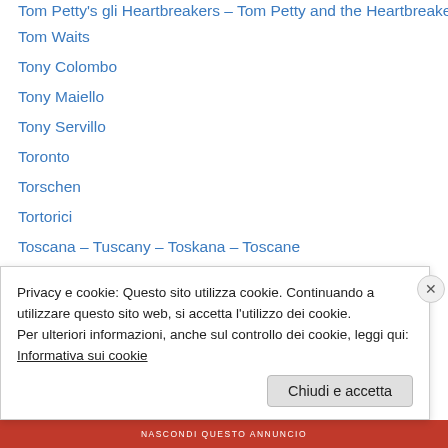Tom Petty's gli Heartbreakers – Tom Petty and the Heartbreakers
Tom Waits
Tony Colombo
Tony Maiello
Tony Servillo
Toronto
Torschen
Tortorici
Toscana – Tuscany – Toskana – Toscane
Train, Simple Minds e Jim Kerr
Trentino e Alto Adige – Trentino und Südtirol
Tricesimo
Trino Vercellese
Troina
Privacy e cookie: Questo sito utilizza cookie. Continuando a utilizzare questo sito web, si accetta l'utilizzo dei cookie.
Per ulteriori informazioni, anche sul controllo dei cookie, leggi qui: Informativa sui cookie
NASCONDI QUESTO ANNUNCIO